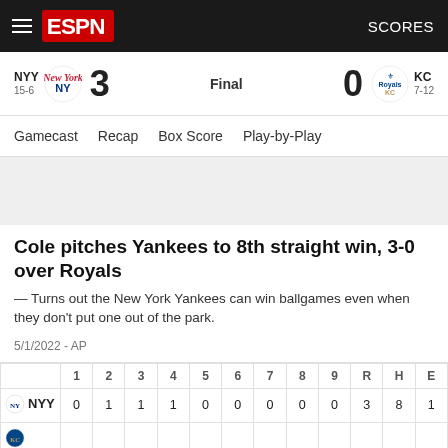ESPN SCORES
NYY 15-6  3  Final  0  KC 7-12
Gamecast  Recap  Box Score  Play-by-Play
Cole pitches Yankees to 8th straight win, 3-0 over Royals
— Turns out the New York Yankees can win ballgames even when they don't put one out of the park.
5/1/2022 - AP
|  | 1 | 2 | 3 | 4 | 5 | 6 | 7 | 8 | 9 | R | H | E |
| --- | --- | --- | --- | --- | --- | --- | --- | --- | --- | --- | --- | --- |
| NYY | 0 | 1 | 1 | 1 | 0 | 0 | 0 | 0 | 0 | 3 | 8 | 1 |
| KC |  |  |  |  |  |  |  |  |  |  |  |  |